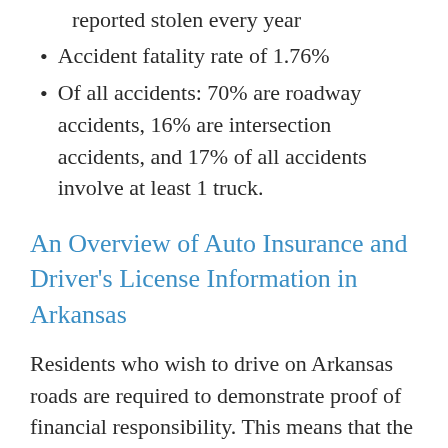reported stolen every year
Accident fatality rate of 1.76%
Of all accidents: 70% are roadway accidents, 16% are intersection accidents, and 17% of all accidents involve at least 1 truck.
An Overview of Auto Insurance and Driver's License Information in Arkansas
Residents who wish to drive on Arkansas roads are required to demonstrate proof of financial responsibility. This means that the owner of the vehicle is responsible for...